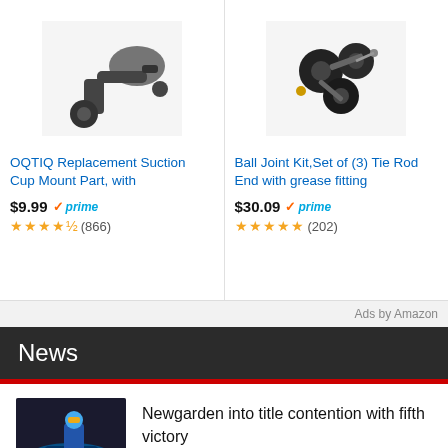[Figure (photo): Product image of OQTIQ Replacement Suction Cup Mount Part - dark metallic device]
OQTIQ Replacement Suction Cup Mount Part, with
$9.99 ✓prime
★★★★½ (866)
[Figure (photo): Product image of Ball Joint Kit - black ball joints with metal fittings]
Ball Joint Kit,Set of (3) Tie Rod End with grease fitting
$30.09 ✓prime
★★★★★ (202)
Ads by Amazon
News
[Figure (photo): Racing driver in blue helmet and suit standing near race car with Technol and Race branding]
Newgarden into title contention with fifth victory
[Figure (photo): Close-up of a mechanical/electronic device, grey metallic with lens-like component]
Denso delivers on aircraft promise